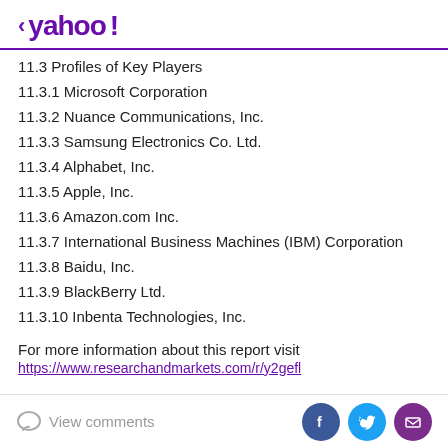< yahoo!
11.3 Profiles of Key Players
11.3.1 Microsoft Corporation
11.3.2 Nuance Communications, Inc.
11.3.3 Samsung Electronics Co. Ltd.
11.3.4 Alphabet, Inc.
11.3.5 Apple, Inc.
11.3.6 Amazon.com Inc.
11.3.7 International Business Machines (IBM) Corporation
11.3.8 Baidu, Inc.
11.3.9 BlackBerry Ltd.
11.3.10 Inbenta Technologies, Inc.
For more information about this report visit
https://www.researchandmarkets.com/r/y2gefl
View comments